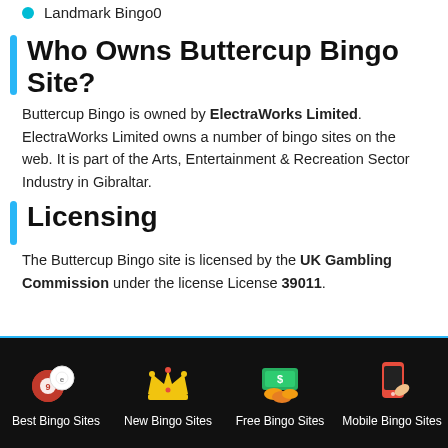Landmark Bingo0
Who Owns Buttercup Bingo Site?
Buttercup Bingo is owned by ElectraWorks Limited. ElectraWorks Limited owns a number of bingo sites on the web. It is part of the Arts, Entertainment & Recreation Sector Industry in Gibraltar.
Licensing
The Buttercup Bingo site is licensed by the UK Gambling Commission under the license License 39011.
[Figure (infographic): Dark footer navigation bar with four icons and labels: Best Bingo Sites (bingo balls icon), New Bingo Sites (crown icon), Free Bingo Sites (money/coins icon), Mobile Bingo Sites (phone icon)]